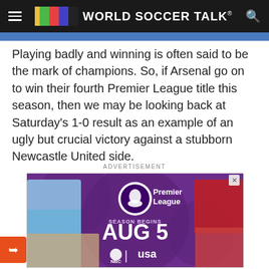WORLD SOCCER TALK®
Playing badly and winning is often said to be the mark of champions. So, if Arsenal go on to win their fourth Premier League title this season, then we may be looking back at Saturday's 1-0 result as an example of an ugly but crucial victory against a stubborn Newcastle United side.
ADVERTISEMENT
[Figure (photo): Premier League Season Begins Aug 5 - NBC and USA Network advertisement featuring football players including Kevin De Bruyne and others]